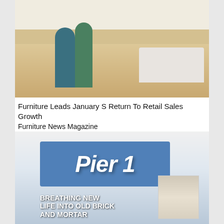[Figure (photo): Two people walking through a furniture store showroom with sofas and chairs visible in the background.]
Furniture Leads January S Return To Retail Sales Growth
Furniture News Magazine
[Figure (photo): Pier 1 store sign in blue with bold italic white text, and overlay text reading 'Breathing New Life Into Old Brick And Mortar' with a small inset image of shelves with dishes.]